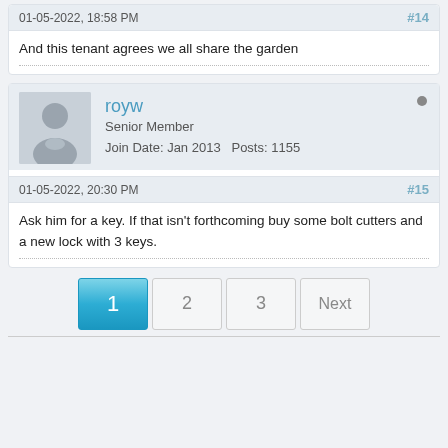01-05-2022, 18:58 PM
#14
And this tenant agrees we all share the garden
royw
Senior Member
Join Date: Jan 2013   Posts: 1155
01-05-2022, 20:30 PM
#15
Ask him for a key. If that isn't forthcoming buy some bolt cutters and a new lock with 3 keys.